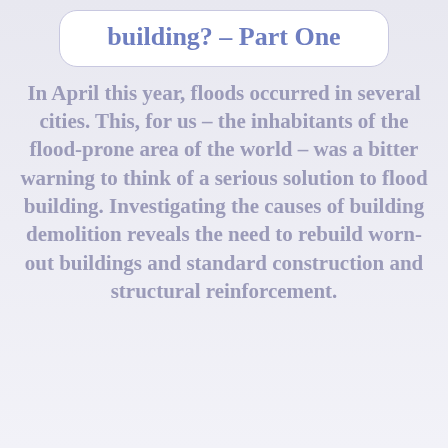building? – Part One
In April this year, floods occurred in several cities. This, for us – the inhabitants of the flood-prone area of the world – was a bitter warning to think of a serious solution to flood building. Investigating the causes of building demolition reveals the need to rebuild worn-out buildings and standard construction and structural reinforcement.